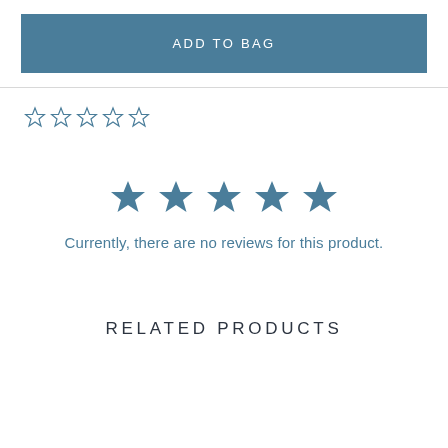ADD TO BAG
[Figure (other): Five empty outline stars for rating]
[Figure (other): Five filled blue stars indicating no reviews]
Currently, there are no reviews for this product.
RELATED PRODUCTS